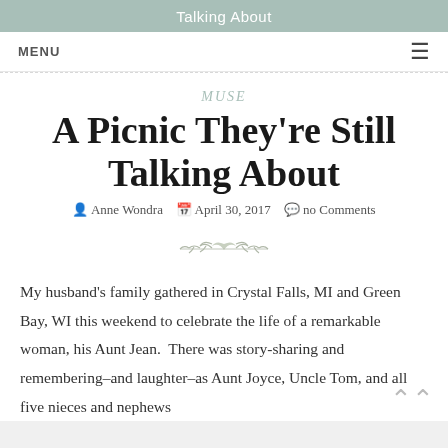Talking About
MENU ☰
MUSE
A Picnic They're Still Talking About
Anne Wondra   April 30, 2017   no Comments
[Figure (illustration): Decorative leaf/branch ornament divider]
My husband's family gathered in Crystal Falls, MI and Green Bay, WI this weekend to celebrate the life of a remarkable woman, his Aunt Jean.  There was story-sharing and remembering–and laughter–as Aunt Joyce, Uncle Tom, and all five nieces and nephews